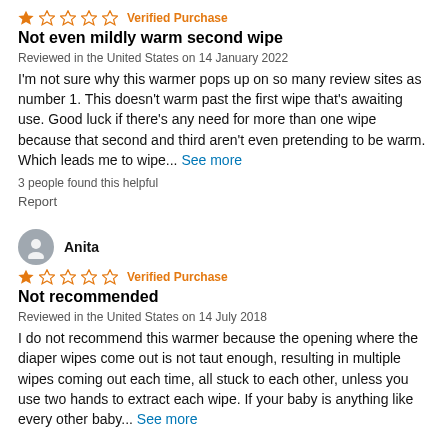[Figure (other): 1-star rating (1 filled, 4 empty stars) with Verified Purchase label]
Not even mildly warm second wipe
Reviewed in the United States on 14 January 2022
I'm not sure why this warmer pops up on so many review sites as number 1. This doesn't warm past the first wipe that's awaiting use. Good luck if there's any need for more than one wipe because that second and third aren't even pretending to be warm. Which leads me to wipe... See more
3 people found this helpful
Report
[Figure (other): User avatar icon (generic grey silhouette)]
Anita
[Figure (other): 1-star rating (1 filled, 4 empty stars) with Verified Purchase label]
Not recommended
Reviewed in the United States on 14 July 2018
I do not recommend this warmer because the opening where the diaper wipes come out is not taut enough, resulting in multiple wipes coming out each time, all stuck to each other, unless you use two hands to extract each wipe. If your baby is anything like every other baby... See more